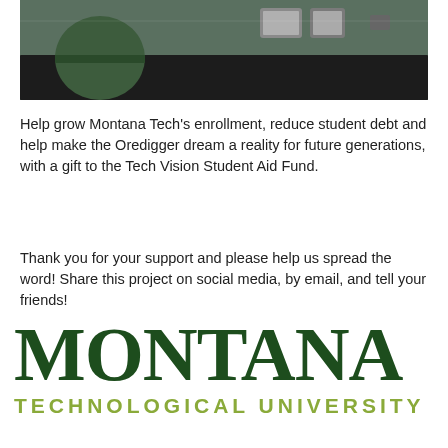[Figure (photo): Photo of a person in a green shirt at a dark reception desk with electronic devices in the background]
Help grow Montana Tech's enrollment, reduce student debt and help make the Oredigger dream a reality for future generations, with a gift to the Tech Vision Student Aid Fund.
Thank you for your support and please help us spread the word! Share this project on social media, by email, and tell your friends!
[Figure (logo): Montana Technological University logo — MONTANA in large dark green serif text, TECHNOLOGICAL UNIVERSITY in smaller olive/yellow-green bold sans-serif text below]